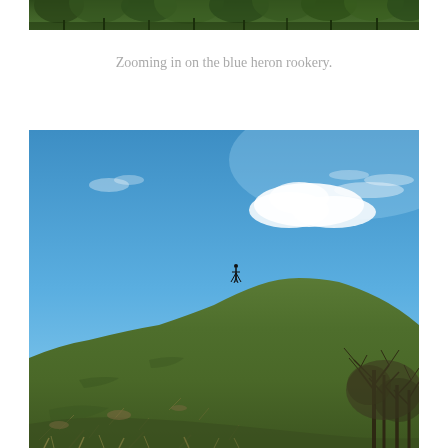[Figure (photo): Top portion of a photo showing forest trees and dense vegetation, cropped at the top of the page.]
Zooming in on the blue heron rookery.
[Figure (photo): Outdoor photograph of a grassy hillside under a bright blue sky with wispy clouds. A small figure stands at the top of the hill. Trees are visible on the right side of the image.]